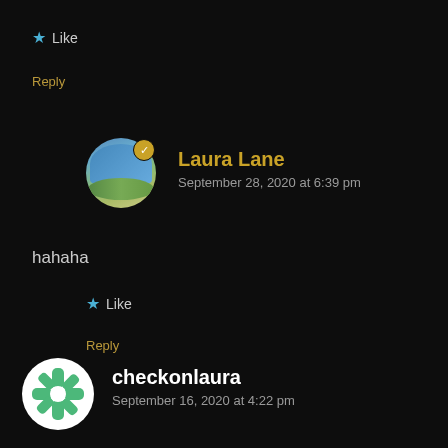★ Like
Reply
[Figure (photo): Circular avatar showing aerial landscape view of coastal town with verified gold checkmark badge]
Laura Lane
September 28, 2020 at 6:39 pm
hahaha
★ Like
Reply
[Figure (photo): Circular avatar with white and green snowflake/pinwheel pattern]
checkonlaura
September 16, 2020 at 4:22 pm